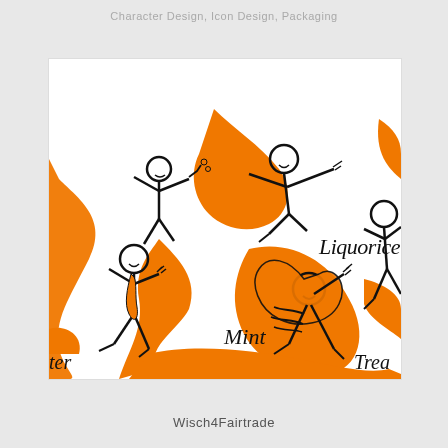Character Design, Icon Design, Packaging
[Figure (illustration): Hand-drawn style illustration featuring stick figures with orange flowing hair/capes in various dynamic poses (running, flying, jumping). Text labels visible: 'Liquorice', 'Mint', 'Trea...' (truncated), 'ter' (truncated). Characters drawn in black line art with orange fill accents on white background.]
Wisch4Fairtrade